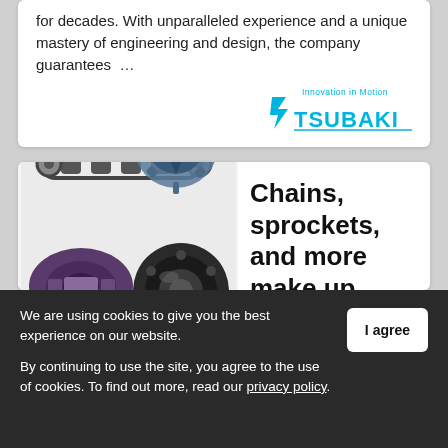for decades. With unparalleled experience and a unique mastery of engineering and design, the company guarantees …
[Figure (logo): Tsubaki logo with tagline 'Innovation in Motion' in blue and cyan]
[Figure (photo): Assortment of Tsubaki products: roller chains, sprockets, couplings, and bearings]
Chains, sprockets, and more make up Tsubaki's diverse
We are using cookies to give you the best experience on our website.
By continuing to use the site, you agree to the use of cookies. To find out more, read our privacy policy.